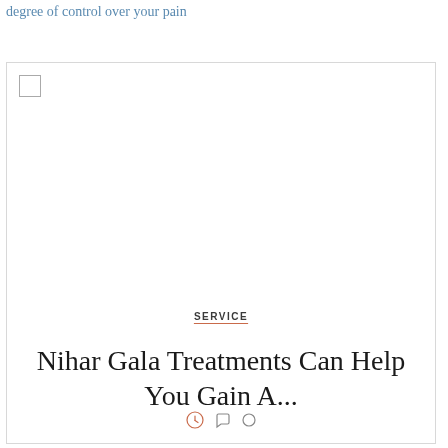degree of control over your pain
[Figure (illustration): A card UI component with a checkbox in the top-left corner, a large white image area, a 'SERVICE' label with underline, a title 'Nihar Gala Treatments Can Help You Gain A...', and icon row at the bottom with a clock, chat bubble, and circle icons.]
SERVICE
Nihar Gala Treatments Can Help You Gain A...